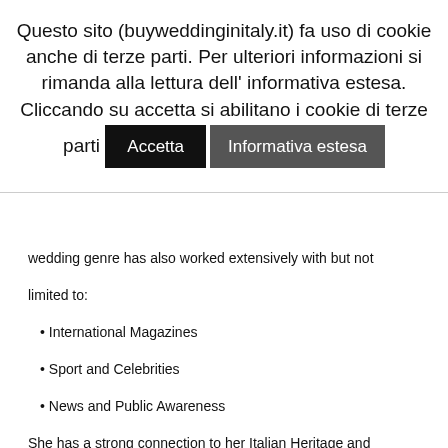Questo sito (buyweddinginitaly.it) fa uso di cookie anche di terze parti. Per ulteriori informazioni si rimanda alla lettura dell' informativa estesa. Cliccando su accetta si abilitano i cookie di terze parti  Accetta  Informativa estesa
wedding genre has also worked extensively with but not limited to:
• International Magazines
• Sport and Celebrities
• News and Public Awareness
She has a strong connection to her Italian Heritage and